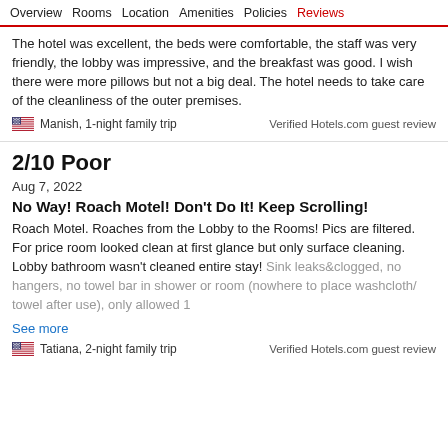Overview   Rooms   Location   Amenities   Policies   Reviews
The hotel was excellent, the beds were comfortable, the staff was very friendly, the lobby was impressive, and the breakfast was good. I wish there were more pillows but not a big deal. The hotel needs to take care of the cleanliness of the outer premises.
Manish, 1-night family trip
Verified Hotels.com guest review
2/10 Poor
Aug 7, 2022
No Way! Roach Motel! Don't Do It! Keep Scrolling!
Roach Motel. Roaches from the Lobby to the Rooms! Pics are filtered. For price room looked clean at first glance but only surface cleaning. Lobby bathroom wasn't cleaned entire stay! Sink leaks&clogged, no hangers, no towel bar in shower or room (nowhere to place washcloth/ towel after use), only allowed 1
See more
Tatiana, 2-night family trip
Verified Hotels.com guest review